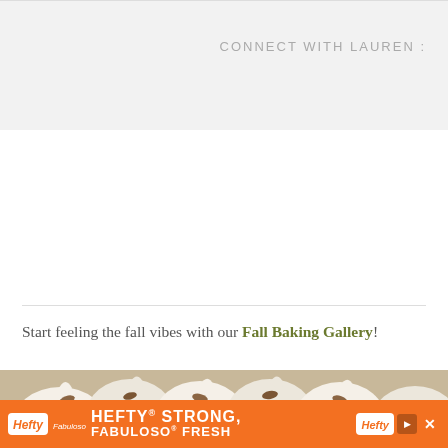CONNECT WITH LAUREN :
Start feeling the fall vibes with our Fall Baking Gallery!
[Figure (photo): Close-up photo of frosted baked goods (cupcakes or cake) topped with cream swirls and almonds, with caramel sauce visible, overlaid with a white box containing the text FALL BAKING]
[Figure (other): Advertisement banner: Hefty STRONG, Fabuloso FRESH orange advertisement bar with Hefty logo and product imagery]